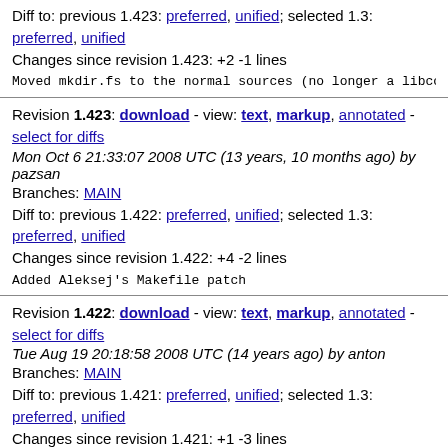Diff to: previous 1.423: preferred, unified; selected 1.3: preferred, unified
Changes since revision 1.423: +2 -1 lines
Moved mkdir.fs to the normal sources (no longer a libcc.f
Revision 1.423: download - view: text, markup, annotated - select for diffs
Mon Oct 6 21:33:07 2008 UTC (13 years, 10 months ago) by pazsan
Branches: MAIN
Diff to: previous 1.422: preferred, unified; selected 1.3: preferred, unified
Changes since revision 1.422: +4 -2 lines
Added Aleksej's Makefile patch
Revision 1.422: download - view: text, markup, annotated - select for diffs
Tue Aug 19 20:18:58 2008 UTC (14 years ago) by anton
Branches: MAIN
Diff to: previous 1.421: preferred, unified; selected 1.3: preferred, unified
Changes since revision 1.421: +1 -3 lines
added cstr.fs mkdir.fs C interface files